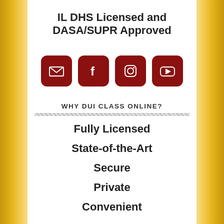IL DHS Licensed and DASA/SUPR Approved
[Figure (infographic): Four social media icon buttons in dark red rounded squares: email envelope, Facebook f, Instagram camera, YouTube play button]
WHY DUI CLASS ONLINE?
Fully Licensed
State-of-the-Art
Secure
Private
Convenient